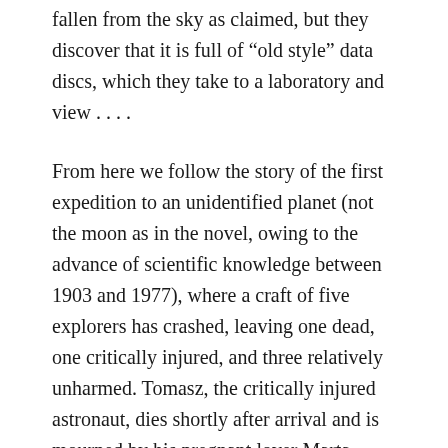fallen from the sky as claimed, but they discover that it is full of “old style” data discs, which they take to a laboratory and view . . . .
From here we follow the story of the first expedition to an unidentified planet (not the moon as in the novel, owing to the advance of scientific knowledge between 1903 and 1977), where a craft of five explorers has crashed, leaving one dead, one critically injured, and three relatively unharmed. Tomasz, the critically injured astronaut, dies shortly after arrival and is mourned by his pregnant lover Marta (Iwona Bielska), the only woman present. Piotr (Jerzy Grałek) becomes the default leader of the group, and Jerzy (Jerzy Trela) uses their cameras to record a history of the expedition, presumably the same one that fell to the ground and is being viewed by the aforementioned astronaut duo. The